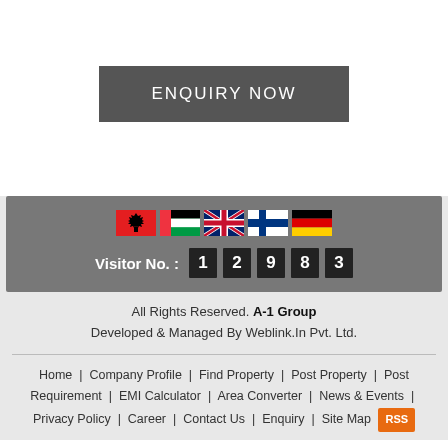[Figure (other): ENQUIRY NOW button — dark grey rectangular button with white uppercase text]
[Figure (infographic): Footer section with country flags (Albania, UAE, UK, Finland, Germany), visitor counter showing 12983, copyright and developer info, and navigation links]
All Rights Reserved. A-1 Group
Developed & Managed By Weblink.In Pvt. Ltd.
Home | Company Profile | Find Property | Post Property | Post Requirement | EMI Calculator | Area Converter | News & Events | Privacy Policy | Career | Contact Us | Enquiry | Site Map RSS